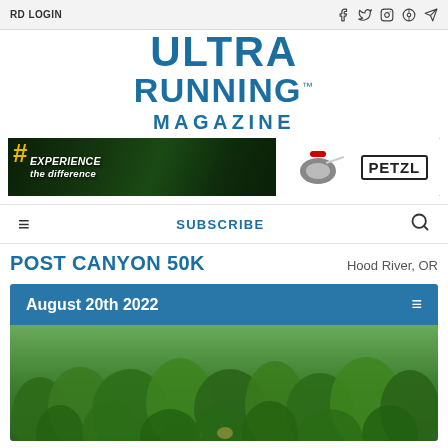RD LOGIN
ULTRA RUNNING. MAGAZINE
[Figure (illustration): Petzl advertisement banner showing runners with headlamps at night in a forest, with the tagline #Experience the Difference and Petzl product imagery and logo]
SUBSCRIBE
POST CANYON 50K
Hood River, OR
August 20th 2022
[Figure (photo): Forest canopy photo showing dense green trees from above, partially visible at bottom of race card]